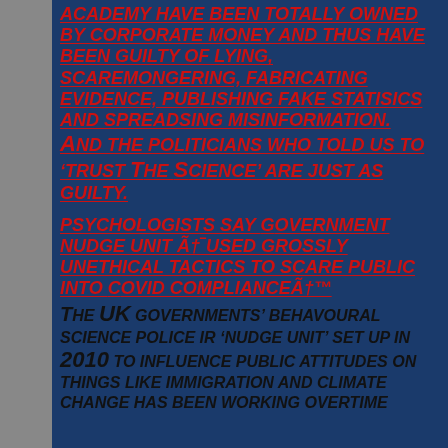ACADEMY HAVE BEEN TOTALLY OWNED BY CORPORATE MONEY AND THUS HAVE BEEN GUILTY OF LYING, SCAREMONGERING, FABRICATING EVIDENCE, PUBLISHING FAKE STATISICS AND SPREADSING MISINFORMATION. And the politicians who told us to 'trust The Science' are just as guilty.
Psychologists say Government nudge unit â€˜used grossly unethical tactics to scare public into Covid complianceâ€™
The UK governments' behavoural science police ir 'nudge unit' set up in 2010 to influence public attitudes on things like immigration and climate change has been working overtime